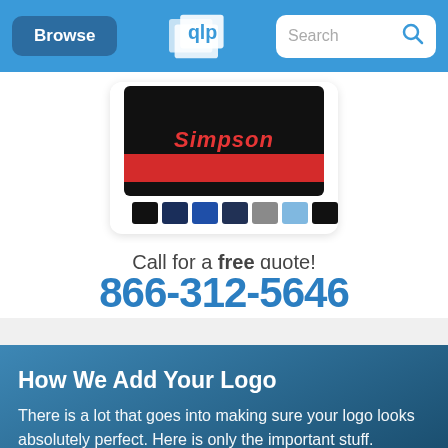Browse | [QLP Logo] | Search
[Figure (photo): Product image showing Simpson branded items with color swatches (black, navy, blue, gray, light blue, black) on a white card with rounded corners]
Call for a free quote!
866-312-5646
How We Add Your Logo
There is a lot that goes into making sure your logo looks absolutely perfect. Here is only the important stuff.